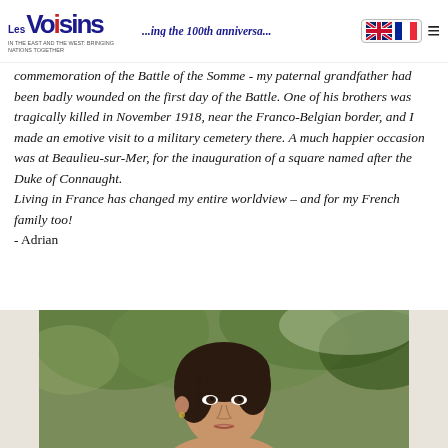Les Voisins – [navigation header with flags]
commemoration of the Battle of the Somme - my paternal grandfather had been badly wounded on the first day of the Battle. One of his brothers was tragically killed in November 1918, near the Franco-Belgian border, and I made an emotive visit to a military cemetery there. A much happier occasion was at Beaulieu-sur-Mer, for the inauguration of a square named after the Duke of Connaught.
Living in France has changed my entire worldview – and for my French family too!
- Adrian
[Figure (photo): Photograph of a young woman outdoors with green foliage in the background]